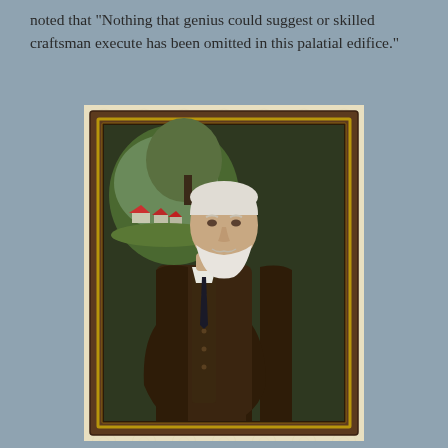noted that "Nothing that genius could suggest or skilled craftsman execute has been omitted in this palatial edifice."
[Figure (photo): A framed oil portrait painting of an elderly white-haired and white-bearded man wearing a dark brown three-piece suit. He stands in a three-quarter pose against a dark background with a landscape scene visible in the upper left corner showing trees and red-roofed buildings. The portrait is displayed in a dark wooden frame with a gold inner border, set against a pale yellow floral wallpaper background.]